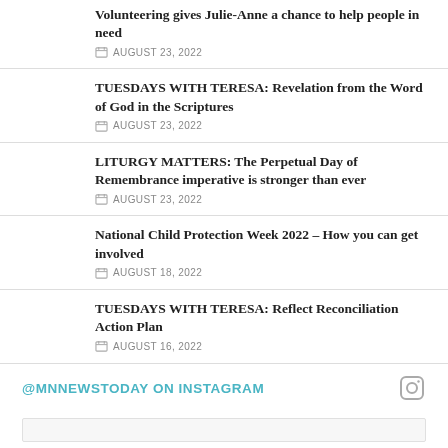Volunteering gives Julie-Anne a chance to help people in need
AUGUST 23, 2022
TUESDAYS WITH TERESA: Revelation from the Word of God in the Scriptures
AUGUST 23, 2022
LITURGY MATTERS: The Perpetual Day of Remembrance imperative is stronger than ever
AUGUST 23, 2022
National Child Protection Week 2022 – How you can get involved
AUGUST 18, 2022
TUESDAYS WITH TERESA: Reflect Reconciliation Action Plan
AUGUST 16, 2022
@MNNEWSTODAY ON INSTAGRAM